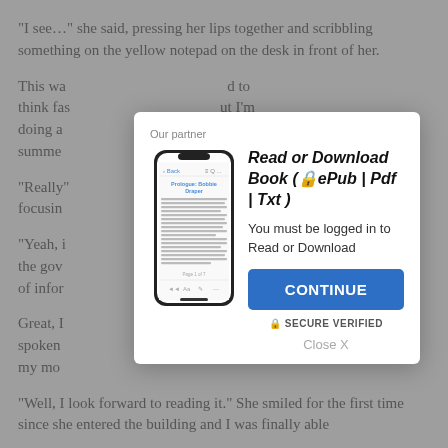"I see…" she said, pressing her lips together and scribbling something on the yellow notepad on the desk in front of her.
This wa… [obscured] …d to think fas… [obscured] …ut I'm doing a… [obscured] …is summe…
"Really"… [obscured] …d in, focusin…
"Yeah, i… [obscured] …h all of the gov… [obscured] …plenty of infor…
Great, I… [obscured] spoken… [obscured] …h and my mo…
"Well, I look forward to reading it." She smiled for the first time since she entered the building and I was finally able
[Figure (screenshot): Modal dialog overlay on a book reading website. Shows 'Our partner' label, a phone image showing a book app, title 'Read or Download Book (🔒ePub | Pdf | Txt)', subtitle 'You must be logged in to Read or Download', a blue CONTINUE button, SECURE VERIFIED text, and a Close X link.]